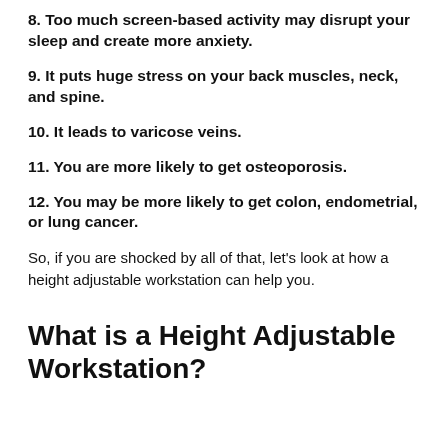8. Too much screen-based activity may disrupt your sleep and create more anxiety.
9. It puts huge stress on your back muscles, neck, and spine.
10. It leads to varicose veins.
11. You are more likely to get osteoporosis.
12. You may be more likely to get colon, endometrial, or lung cancer.
So, if you are shocked by all of that, let's look at how a height adjustable workstation can help you.
What is a Height Adjustable Workstation?